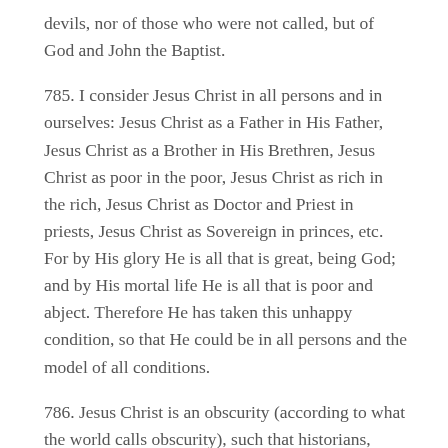devils, nor of those who were not called, but of God and John the Baptist.
785. I consider Jesus Christ in all persons and in ourselves: Jesus Christ as a Father in His Father, Jesus Christ as a Brother in His Brethren, Jesus Christ as poor in the poor, Jesus Christ as rich in the rich, Jesus Christ as Doctor and Priest in priests, Jesus Christ as Sovereign in princes, etc. For by His glory He is all that is great, being God; and by His mortal life He is all that is poor and abject. Therefore He has taken this unhappy condition, so that He could be in all persons and the model of all conditions.
786. Jesus Christ is an obscurity (according to what the world calls obscurity), such that historians, writing only of important matters of states, have hardly noticed Him.
787. On the fact that neither Josephus, nor Tacitus, nor